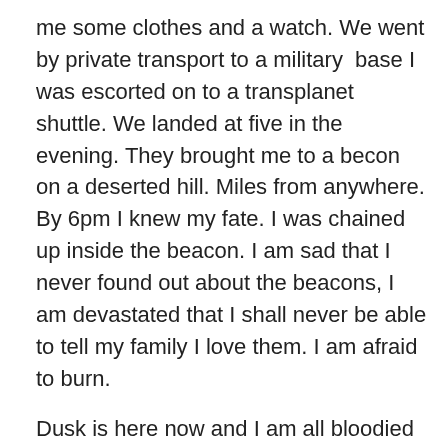me some clothes and a watch. We went by private transport to a military  base I was escorted on to a transplanet shuttle. We landed at five in the evening. They brought me to a becon on a deserted hill. Miles from anywhere. By 6pm I knew my fate. I was chained up inside the beacon. I am sad that I never found out about the beacons, I  am devastated that I shall never be able to tell my family I love them. I am afraid to burn.
Dusk is here now and I am all bloodied from struggling, hoarse from shouting. The flames have started I can feel the heat. I look up and see the most glorious sunset. The flames bite and I give in to death…
6am, an hour before the becon builder would arrive for work a man in grey raked through the ashes of the beacon untill he found the watch capsule.He took it to